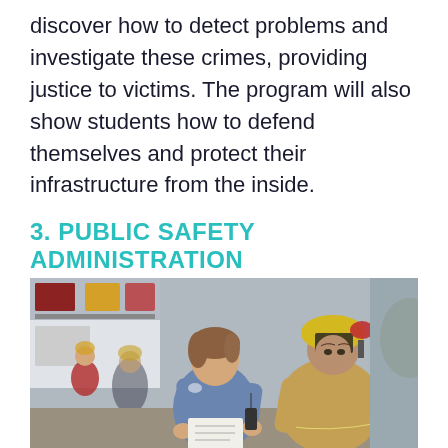discover how to detect problems and investigate these crimes, providing justice to victims. The program will also show students how to defend themselves and protect their infrastructure from the inside.
3. PUBLIC SAFETY ADMINISTRATION
[Figure (photo): A female EMT/paramedic in a blue uniform and a male firefighter in a yellow helmet and tan jacket reviewing paperwork together at an emergency scene, with an ambulance and other emergency responders visible in the background.]